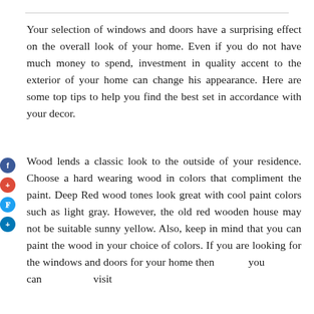Your selection of windows and doors have a surprising effect on the overall look of your home. Even if you do not have much money to spend, investment in quality accent to the exterior of your home can change his appearance. Here are some top tips to help you find the best set in accordance with your decor.
Wood lends a classic look to the outside of your residence. Choose a hard wearing wood in colors that compliment the paint. Deep Red wood tones look great with cool paint colors such as light gray. However, the old red wooden house may not be suitable sunny yellow. Also, keep in mind that you can paint the wood in your choice of colors. If you are looking for the windows and doors for your home then you can visit